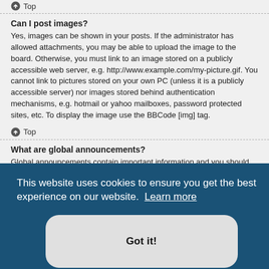Top
Can I post images?
Yes, images can be shown in your posts. If the administrator has allowed attachments, you may be able to upload the image to the board. Otherwise, you must link to an image stored on a publicly accessible web server, e.g. http://www.example.com/my-picture.gif. You cannot link to pictures stored on your own PC (unless it is a publicly accessible server) nor images stored behind authentication mechanisms, e.g. hotmail or yahoo mailboxes, password protected sites, etc. To display the image use the BBCode [img] tag.
Top
What are global announcements?
Global announcements contain important information and you should read them whenever possible. They will appear at the top of every forum and within your User Control Panel. Global announcements are posted by
are
n they are posted. As with global announcements, announcement permissions are
[Figure (infographic): Cookie consent banner overlay with blue background. Text reads: 'This website uses cookies to ensure you get the best experience on our website. Learn more'. Below is a 'Got it!' button with rounded corners on a light grey background.]